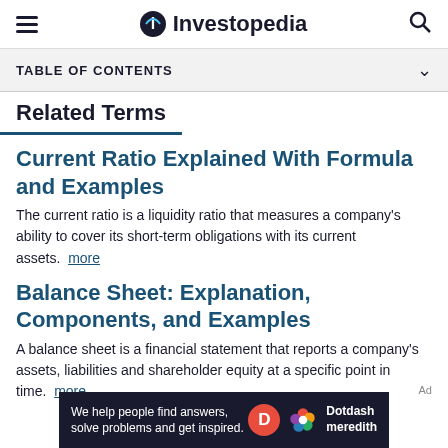Investopedia
TABLE OF CONTENTS
Related Terms
Current Ratio Explained With Formula and Examples
The current ratio is a liquidity ratio that measures a company's ability to cover its short-term obligations with its current assets. more
Balance Sheet: Explanation, Components, and Examples
A balance sheet is a financial statement that reports a company's assets, liabilities and shareholder equity at a specific point in time. more
Ad - We help people find answers, solve problems and get inspired. Dotdash meredith